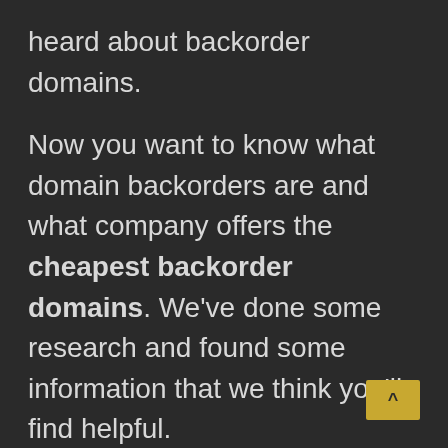heard about backorder domains.
Now you want to know what domain backorders are and what company offers the cheapest backorder domains. We've done some research and found some information that we think you'll find helpful.
Keep reading to learn about what domain backorders are and where you can find the cheapest domain backorder service provider.